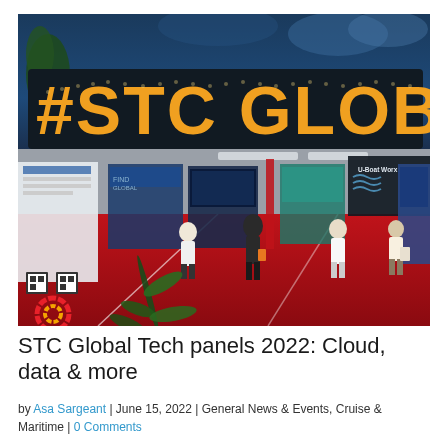[Figure (photo): Trade show floor photo. Top half shows a large illuminated sign reading '#STC GLOBAL' with yellow/orange bulb letters against a dark blue background with clouds and foliage visible. Bottom half shows the expo hall floor with booths including 'U-Boat Worx', attendees walking on a red carpet, various display banners and exhibits.]
STC Global Tech panels 2022: Cloud, data & more
by Asa Sargeant | June 15, 2022 | General News & Events, Cruise & Maritime | 0 Comments